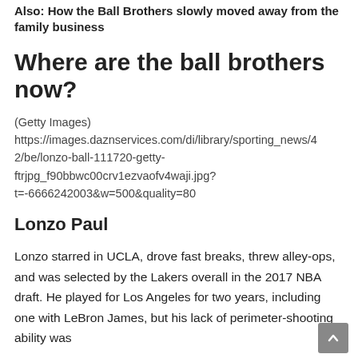Also: How the Ball Brothers slowly moved away from the family business
Where are the ball brothers now?
(Getty Images)
https://images.daznservices.com/di/library/sporting_news/42/be/lonzo-ball-111720-getty-ftrjpg_f90bbwc00crv1ezvaofv4waji.jpg?t=-6666242003&w=500&quality=80
Lonzo Paul
Lonzo starred in UCLA, drove fast breaks, threw alley-ops, and was selected by the Lakers overall in the 2017 NBA draft. He played for Los Angeles for two years, including one with LeBron James, but his lack of perimeter-shooting ability was